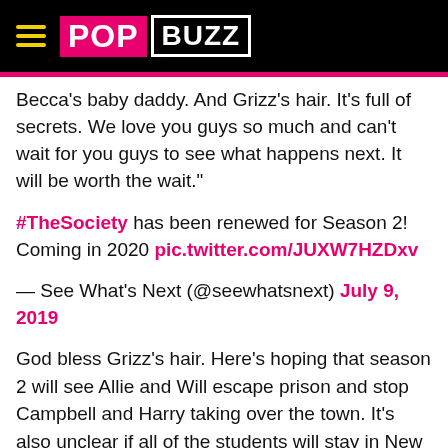PopBuzz
Becca's baby daddy. And Grizz's hair. It's full of secrets. We love you guys so much and can't wait for you guys to see what happens next. It will be worth the wait."
#TheSociety has been renewed for Season 2! Coming in 2020 pic.twitter.com/JUXW7HZDxv
— See What's Next (@seewhatsnext) July 9, 2019
God bless Grizz's hair. Here's hoping that season 2 will see Allie and Will escape prison and stop Campbell and Harry taking over the town. It's also unclear if all of the students will stay in New Ham or move to the new land which Grizz and the other explorers found at the end of season 1. The main question season 1 left us with though is: are the teenagers all dead?